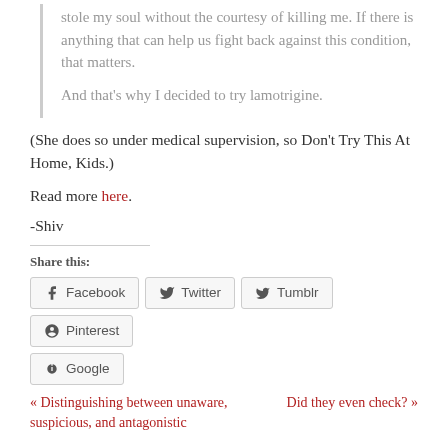stole my soul without the courtesy of killing me. If there is anything that can help us fight back against this condition, that matters.

And that's why I decided to try lamotrigine.
(She does so under medical supervision, so Don't Try This At Home, Kids.)
Read more here.
-Shiv
Share this:
[Figure (other): Social share buttons: Facebook, Twitter, Tumblr, Pinterest, Google]
« Distinguishing between unaware, suspicious, and antagonistic
Did they even check? »